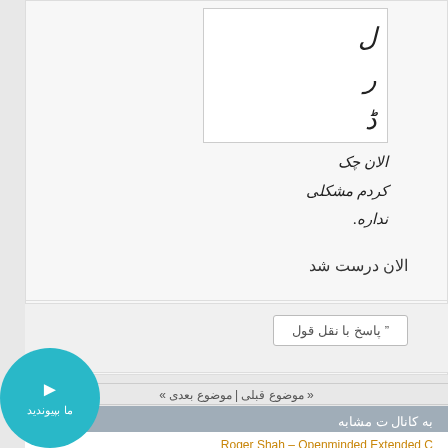[Figure (screenshot): Screenshot of a Persian forum post showing a quoted message box with handwritten-style Persian text]
الان چک کردم مشکلی نداره.
الان درست شد
99 پاسخ با نقل قول
« موضوع قبلی | موضوع بعدی »
به کانال ت مشابه
Roger Shah – Openminded Extended C
انجمن آلبوم رسمی
ما بپیوندید